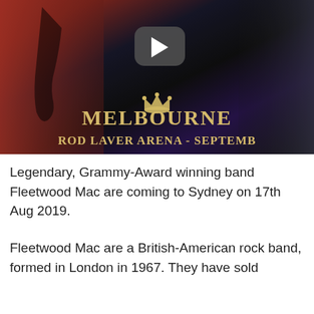[Figure (photo): Video thumbnail showing Fleetwood Mac performing on stage at Rod Laver Arena Melbourne, with a play button overlay, crown icon, and text 'MELBOURNE ROD LAVER ARENA - SEPTEMBER' on a dark concert background]
Legendary, Grammy-Award winning band Fleetwood Mac are coming to Sydney on 17th Aug 2019.
Fleetwood Mac are a British-American rock band, formed in London in 1967. They have sold more than 100 million records worldwide, making them one of the world's best-selling bands.
In 1998, select members of Fleetwood Mac